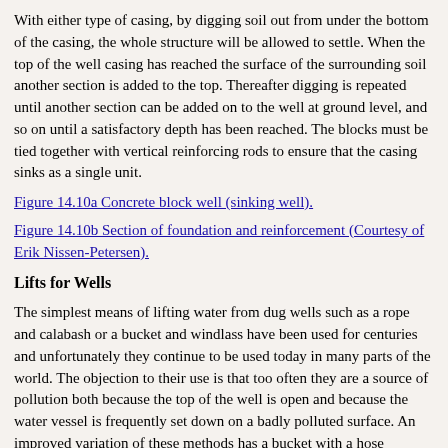With either type of casing, by digging soil out from under the bottom of the casing, the whole structure will be allowed to settle. When the top of the well casing has reached the surface of the surrounding soil another section is added to the top. Thereafter digging is repeated until another section can be added on to the well at ground level, and so on until a satisfactory depth has been reached. The blocks must be tied together with vertical reinforcing rods to ensure that the casing sinks as a single unit.
Figure 14.10a Concrete block well (sinking well).
Figure 14.10b Section of foundation and reinforcement (Courtesy of Erik Nissen-Petersen).
Lifts for Wells
The simplest means of lifting water from dug wells such as a rope and calabash or a bucket and windlass have been used for centuries and unfortunately they continue to be used today in many parts of the world. The objection to their use is that too often they are a source of pollution both because the top of the well is open and because the water vessel is frequently set down on a badly polluted surface. An improved variation of these methods has a bucket with a hose attached to the bottom and to an outlet at the wellhead as shown in Figure 14.11. When the bucket is lifted water is